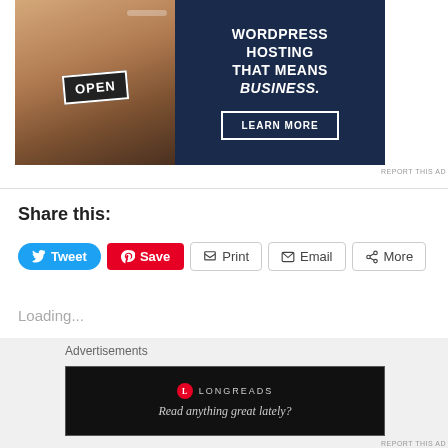[Figure (illustration): WordPress hosting advertisement banner with a person holding an OPEN sign on the left, and dark navy panel on the right with text 'WORDPRESS HOSTING THAT MEANS BUSINESS.' and a 'LEARN MORE' button]
REPORT THIS AD
Share this:
Tweet
Save
Print
Email
More
Loading...
Advertisements
[Figure (screenshot): Longreads advertisement banner with logo and tagline 'Read anything great lately?']
REPORT THIS AD